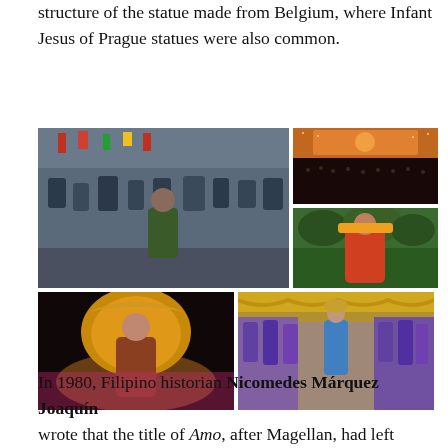structure of the statue made from Belgium, where Infant Jesus of Prague statues were also common.
[Figure (photo): Grid of five photos related to Sinulog festival: top-left shows a religious procession with crowds and police; top-right top shows an indoor arena event with orange lighting; top-right bottom shows a colorful street dancer in costume; bottom-left shows a female dancer in elaborate feathered costume; bottom-right shows a parade with performers in bright purple and yellow costumes.]
In 1980, Filipino historian Nicomedes Márquez Joaquín wrote that the title of Amo, after Magellan, had left